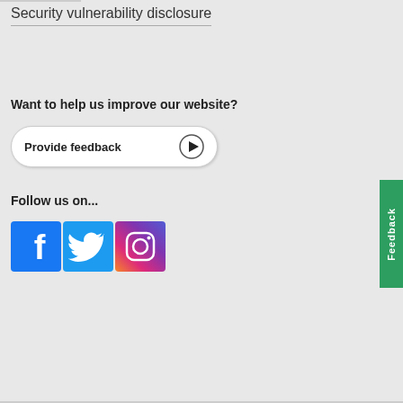Security vulnerability disclosure
Want to help us improve our website?
[Figure (other): Provide feedback button with play icon]
Follow us on...
[Figure (other): Social media icons: Facebook, Twitter, Instagram]
[Figure (other): Green vertical Feedback tab on right side]